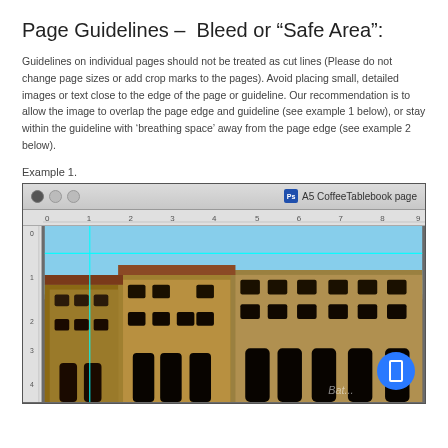Page Guidelines – Bleed or "Safe Area":
Guidelines on individual pages should not be treated as cut lines (Please do not change page sizes or add crop marks to the pages). Avoid placing small, detailed images or text close to the edge of the page or guideline. Our recommendation is to allow the image to overlap the page edge and guideline (see example 1 below), or stay within the guideline with 'breathing space' away from the page edge (see example 2 below).
Example 1.
[Figure (screenshot): Screenshot of a Photoshop-like application window titled 'A5 CoffeeTablebook page' showing a Venice cityscape photo with cyan guide lines overlaid. A horizontal and vertical ruler are visible, and a blue circular button appears in the lower right of the canvas.]